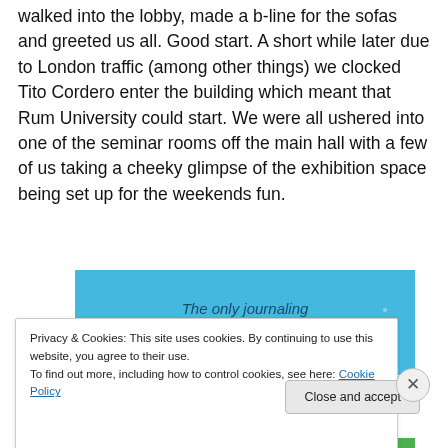walked into the lobby, made a b-line for the sofas and greeted us all. Good start. A short while later due to London traffic (among other things) we clocked Tito Cordero enter the building which meant that Rum University could start. We were all ushered into one of the seminar rooms off the main hall with a few of us taking a cheeky glimpse of the exhibition space being set up for the weekends fun.
[Figure (screenshot): Blue advertisement banner with text 'The only journaling app you'll ever need.']
Privacy & Cookies: This site uses cookies. By continuing to use this website, you agree to their use.
To find out more, including how to control cookies, see here: Cookie Policy
Close and accept